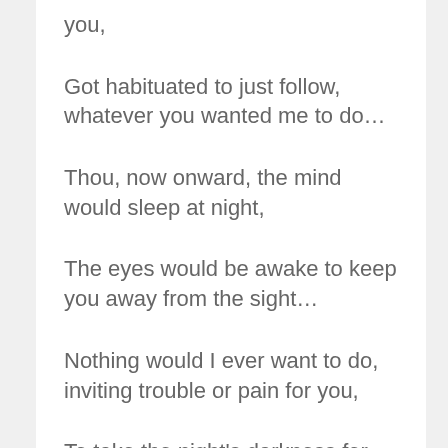you,
Got habituated to just follow, whatever you wanted me to do…
Thou, now onward, the mind would sleep at night,
The eyes would be awake to keep you away from the sight…
Nothing would I ever want to do, inviting trouble or pain for you,
To take the night's darkness for self,